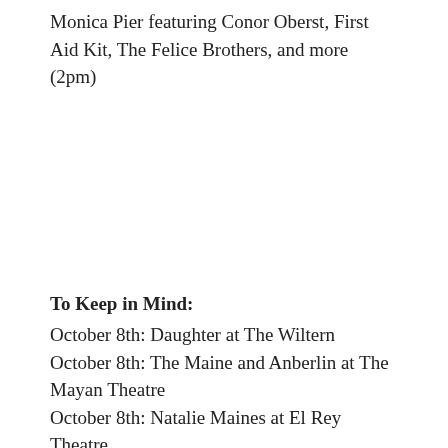Monica Pier featuring Conor Oberst, First Aid Kit, The Felice Brothers, and more (2pm)
To Keep in Mind:
October 8th: Daughter at The Wiltern
October 8th: The Maine and Anberlin at The Mayan Theatre
October 8th: Natalie Maines at El Rey Theatre
October 9th: The Avett Brothers at Shrine Auditorium
October 10th: Tony Lucca at The Hotel Cafe
October 10th (11th: The Pretty Reckless with